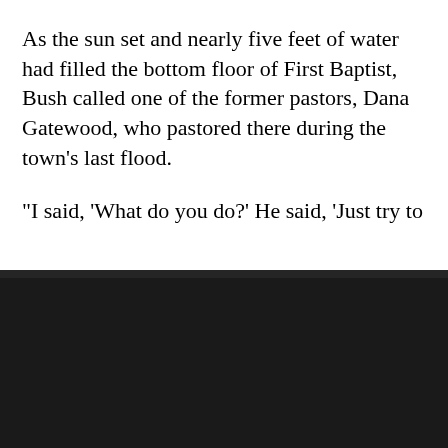As the sun set and nearly five feet of water had filled the bottom floor of First Baptist, Bush called one of the former pastors, Dana Gatewood, who pastored there during the town’s last flood.
“I said, ‘What do you do?’ He said, ‘Just try to
You have 4 free article(s) remaining. Subscribe for unlimited access.
Subscribe for free
Sign In